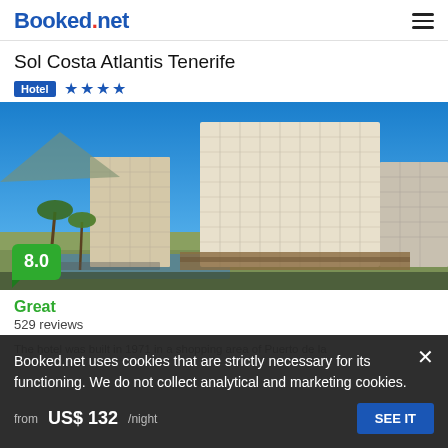Booked.net
Sol Costa Atlantis Tenerife
Hotel ★★★★
[Figure (photo): Exterior photo of Sol Costa Atlantis Tenerife hotel — tall white multi-storey building with balconies, palm trees, pool area in foreground, blue sky, other buildings visible]
8.0
Great
529 reviews
The hotel was built in 1971 in a shopping area of Puerto de la
Booked.net uses cookies that are strictly necessary for its functioning. We do not collect analytical and marketing cookies.
from us$ 132/night